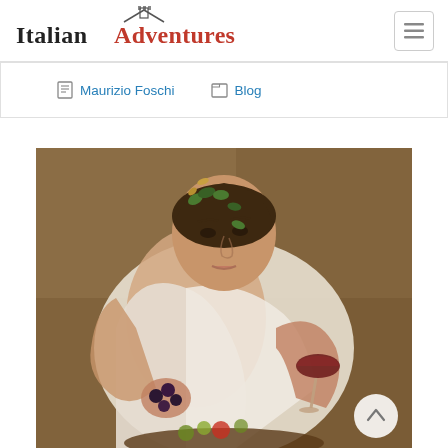Italian Adventures — navigation header with hamburger menu
Maurizio Foschi   Blog
[Figure (photo): Caravaggio's painting of Bacchus — a young man wearing a white draped robe and laurel/ivy crown, holding a wine glass in his right hand and dark grapes in his left, set against a warm brown background. Classical Italian Renaissance oil painting.]